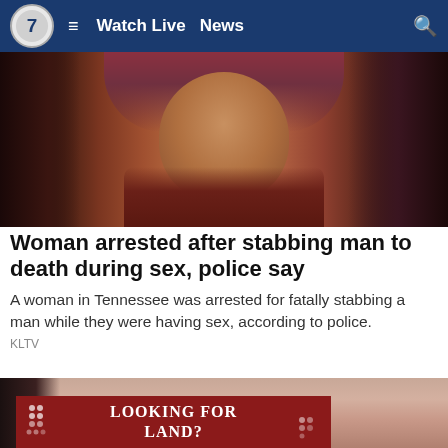Watch Live  News
[Figure (photo): Mugshot of a woman with reddish-pink hair wearing a dark red hoodie, with visible neck tattoos]
Woman arrested after stabbing man to death during sex, police say
A woman in Tennessee was arrested for fatally stabbing a man while they were having sex, according to police.
KLTV
[Figure (photo): Partial close-up photo of a person's face]
[Figure (other): Advertisement banner: LOOKING FOR LAND?]